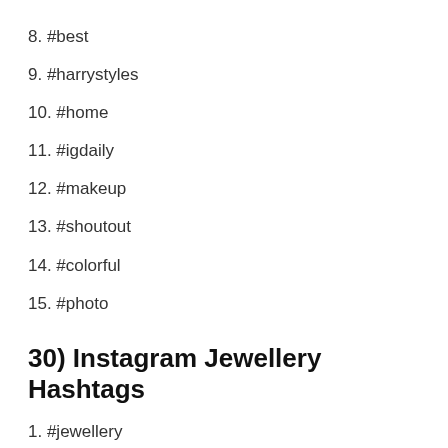8. #best
9. #harrystyles
10. #home
11. #igdaily
12. #makeup
13. #shoutout
14. #colorful
15. #photo
30) Instagram Jewellery Hashtags
1. #jewellery
2. #fashionjewellery